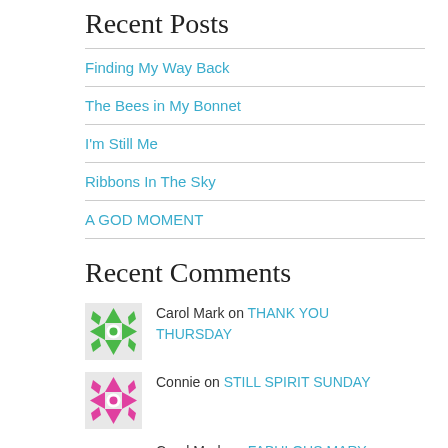Recent Posts
Finding My Way Back
The Bees in My Bonnet
I'm Still Me
Ribbons In The Sky
A GOD MOMENT
Recent Comments
Carol Mark on THANK YOU THURSDAY
Connie on STILL SPIRIT SUNDAY
Carol Mark on FABULOUS MARY